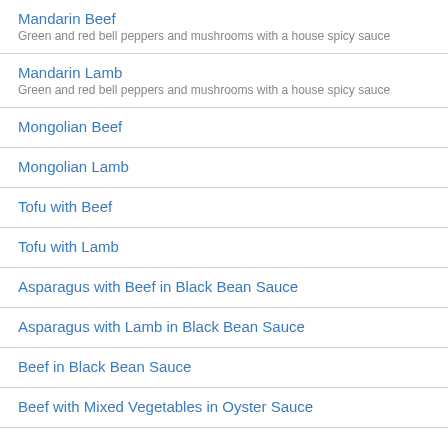Mandarin Beef
Green and red bell peppers and mushrooms with a house spicy sauce
Mandarin Lamb
Green and red bell peppers and mushrooms with a house spicy sauce
Mongolian Beef
Mongolian Lamb
Tofu with Beef
Tofu with Lamb
Asparagus with Beef in Black Bean Sauce
Asparagus with Lamb in Black Bean Sauce
Beef in Black Bean Sauce
Beef with Mixed Vegetables in Oyster Sauce